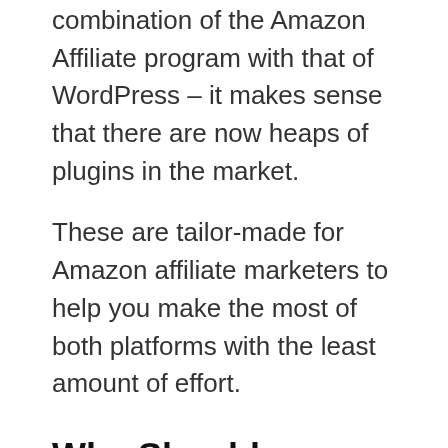combination of the Amazon Affiliate program with that of WordPress – it makes sense that there are now heaps of plugins in the market.
These are tailor-made for Amazon affiliate marketers to help you make the most of both platforms with the least amount of effort.
Why Should you Use an Amazon Affiliate Plugin?
Contents [show]